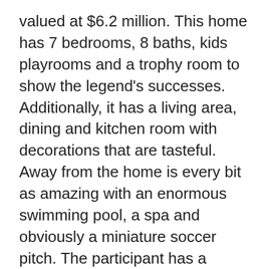valued at $6.2 million. This home has 7 bedrooms, 8 baths, kids playrooms and a trophy room to show the legend's successes. Additionally, it has a living area, dining and kitchen room with decorations that are tasteful. Away from the home is every bit as amazing with an enormous swimming pool, a spa and obviously a miniature soccer pitch. The participant has a house in among those most bizarre cities of the Earth, New York City that's equally a wonderful place to live at a comfy home setting. Eventually on his record of homes is your Alderley Edge Mansion situated in Cheshire Village, U.K he obtained 2006 for $ 6million. The home is a lavish five-storey mansion with five bedrooms, a family room, an indoor theatre space, a swimming pool, jacuzzi and a fitness center. The home is however up available that's likely a last death of the